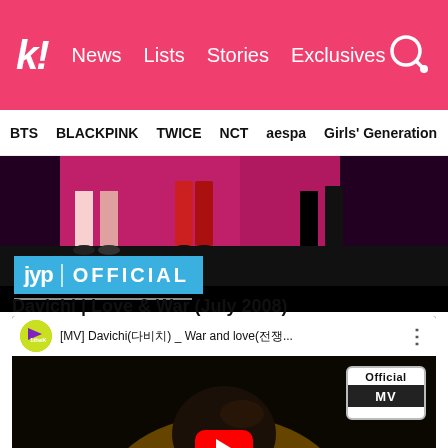k! News Lists Stories Exclusives
BTS BLACKPINK TWICE NCT aespa Girls' Generation
[Figure (screenshot): JYP OFFICIAL banner/thumbnail showing dancers legs on a colorful stage with the JYP OFFICIAL blue badge overlay]
Davichi | Love & War (July 2008)
[Figure (screenshot): YouTube video thumbnail for [MV] Davichi(다비치) _ War and love(전쟁같은사랑) with 1theK channel icon, Official MV badge, and red YouTube play button overlay]